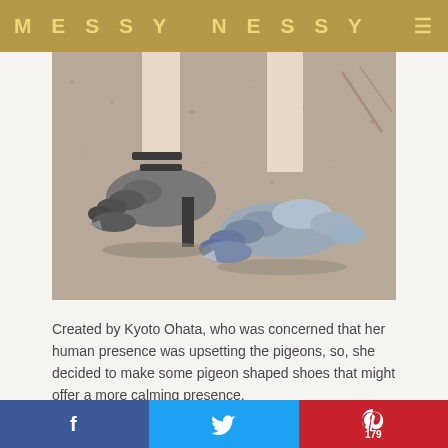MESSY NESSY
[Figure (photo): Close-up photo of pigeon-shaped shoes on a sandy/gravel ground. The shoes are designed to look like pigeons, with feather-like textures in grey and black.]
Created by Kyoto Ohata, who was concerned that her human presence was upsetting the pigeons, so, she decided to make some pigeon shaped shoes that might offer a more calming presence.
Found on My Modern Met.
f  (Twitter bird icon)  P 179